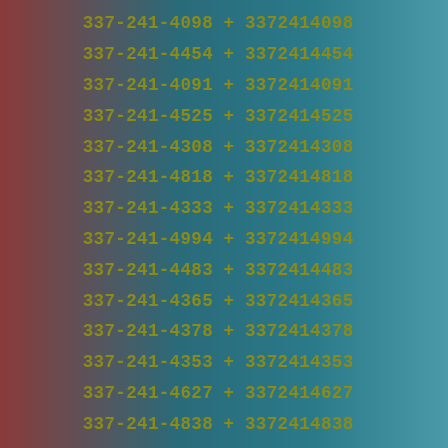337-241-4670 + 3372414670
337-241-4014 + 3372414014
337-241-4350 + 3372414350
337-241-4845 + 3372414845
337-241-4098 + 3372414098
337-241-4454 + 3372414454
337-241-4091 + 3372414091
337-241-4525 + 3372414525
337-241-4308 + 3372414308
337-241-4818 + 3372414818
337-241-4333 + 3372414333
337-241-4994 + 3372414994
337-241-4483 + 3372414483
337-241-4365 + 3372414365
337-241-4378 + 3372414378
337-241-4353 + 3372414353
337-241-4627 + 3372414627
337-241-4838 + 3372414838
337-241-4924 + 3372414924
337-241-4901 + 3372414901
337-241-4880 + 3372414880
337-241-4652 + 3372414652